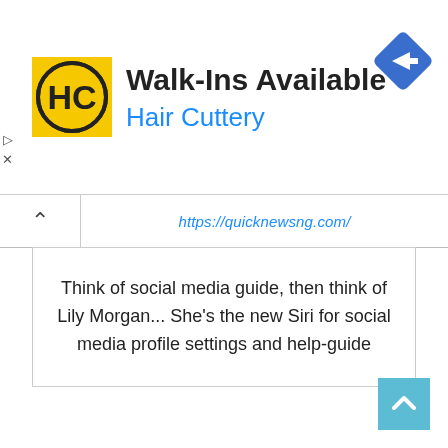[Figure (screenshot): Hair Cuttery advertisement banner with yellow HC logo, 'Walk-Ins Available' title, 'Hair Cuttery' subtitle in blue, and a blue navigation/directions diamond icon on the right.]
https://quicknewsng.com/
Think of social media guide, then think of Lily Morgan... She's the new Siri for social media profile settings and help-guide
[Figure (other): Scroll-to-top button (light blue square with upward chevron arrow)]